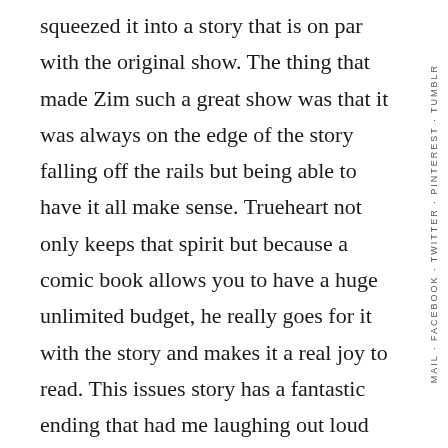squeezed it into a story that is on par with the original show. The thing that made Zim such a great show was that it was always on the edge of the story falling off the rails but being able to have it all make sense. Trueheart not only keeps that spirit but because a comic book allows you to have a huge unlimited budget, he really goes for it with the story and makes it a real joy to read. This issues story has a fantastic ending that had me laughing out loud and that is pretty rare feat for a comic today. Alexovich and Lawton deliver another great issue of artwork that brings the comic to the great level of the animated series. It's one of the few comic adaptations that looks exactly like the source material but still works as a
MAIL · FACEBOOK · TWITTER · PINTEREST · TUMBLR